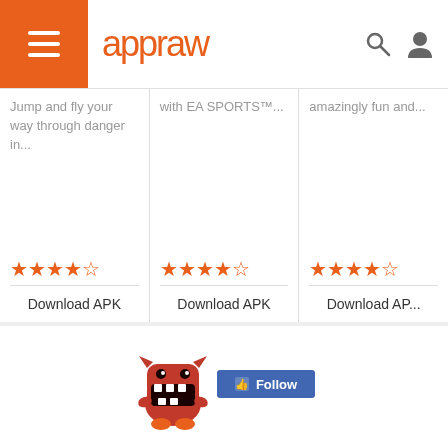appraw
Jump and fly your way through danger in...
with EA SPORTS™...
amazingly fun and...
Download APK
Download APK
Download APK
AngerOfStick4 User Reviews & Comments
[Figure (illustration): Red monster mascot (Domo-like character) with open mouth showing teeth, with a Facebook Follow button beside it]
© 2022 Appraw App Store
Terms | Privacy Policy | Contact